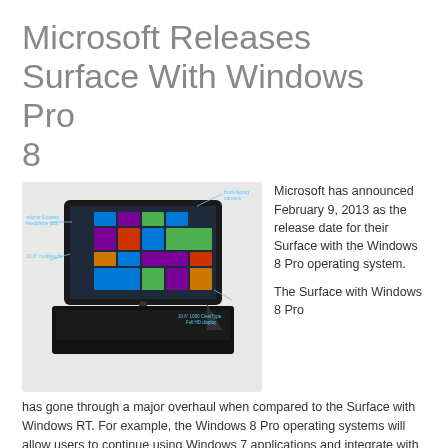Microsoft Releases Surface With Windows Pro 8
[Figure (photo): Microsoft Surface tablet with Windows 8 Pro, showing the device with keyboard cover and Windows 8 tile interface on screen, with callout labels pointing to various features including front-facing camera, volume & power/headphone jack, 10.6" multitouch, and 10.6" 1080 ClearType Full HD display.]
Microsoft has announced February 9, 2013 as the release date for their Surface with the Windows 8 Pro operating system.
The Surface with Windows 8 Pro has gone through a major overhaul when compared to the Surface with Windows RT. For example, the Windows 8 Pro operating systems will allow users to continue using Windows 7 applications and integrate with your existing infrastructure.
The security system has also undergone a significant upgrade. AppLocker and Group Policy allow application and security policy control. BitLocker gives the user the enhanced data protection.